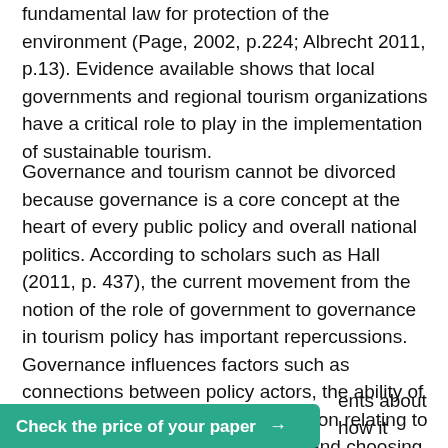fundamental law for protection of the environment (Page, 2002, p.224; Albrecht 2011, p.13). Evidence available shows that local governments and regional tourism organizations have a critical role to play in the implementation of sustainable tourism.
Governance and tourism cannot be divorced because governance is a core concept at the heart of every public policy and overall national politics. According to scholars such as Hall (2011, p. 437), the current movement from the notion of the role of government to governance in tourism policy has important repercussions. Governance influences factors such as connections between policy actors, the ability of the government to take a given action relating to tourism, defining policy problems, and choosing policy instruments and indicators (Hall, 2011, p. 439). The contemporary state, partly due to the ever-increasing globalization of every aspect of human life, must adapt to
ents about how it